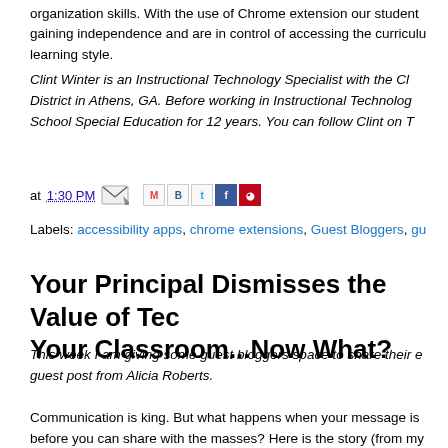organization skills. With the use of Chrome extension our students are gaining independence and are in control of accessing the curriculum at their learning style.
Clint Winter is an Instructional Technology Specialist with the Clarke County School District in Athens, GA. Before working in Instructional Technology, Clint taught High School Special Education for 12 years. You can follow Clint on Twitter.
at 1:30 PM [share icons] Labels: accessibility apps, chrome extensions, Guest Bloggers, gu...
Labels: accessibility apps, chrome extensions, Guest Bloggers, gu
Your Principal Dismisses the Value of Technology in Your Classroom...Now What?
This week I am giving some guest bloggers space to share their experiences. This is a guest post from Alicia Roberts.
Communication is king. But what happens when your message is dismissed before you can share with the masses? Here is the story (from my experience) we should all consider rewriting the definition of the value of technology.